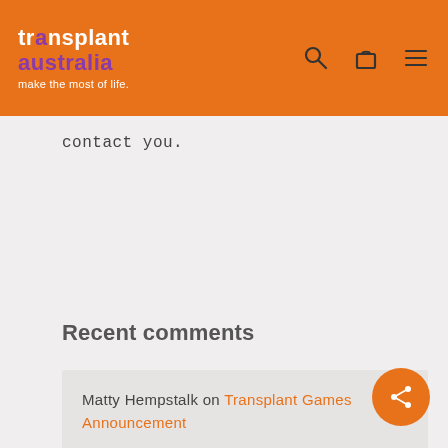[Figure (logo): Transplant Australia logo with orange background, white 'transplant' text (with purple 'a'), purple 'australia' text, white tagline 'make the most of life.', and navigation icons (search, bag, hamburger menu) on the right.]
contact you.
Recent comments
Matty Hempstalk on Transplant Games Announcement
David Wightman on Transplant Games Announcement